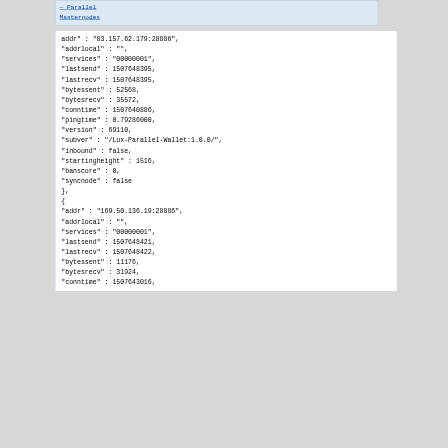— Parallel Masternodes
addr" : "83.157.62.179:28886",
"addrlocal" : "",
"services" : "00000001",
"lastsend" : 1507648395,
"lastrecv" : 1507648395,
"bytessent" : 52568,
"bytesrecv" : 35572,
"conntime" : 1507640886,
"pingtime" : 0.79286000,
"version" : 69110,
"subver" : "/Lux-Parallel-Wallet:1.0.0/",
"inbound" : false,
"startingheight" : 1516,
"banscore" : 0,
"syncnode" : false
},
{
"addr" : "169.50.136.19:28886",
"addrlocal" : "",
"services" : "00000001",
"lastsend" : 1507648421,
"lastrecv" : 1507648422,
"bytessent" : 11176,
"bytesrecv" : 31924,
"conntime" : 1507643016,